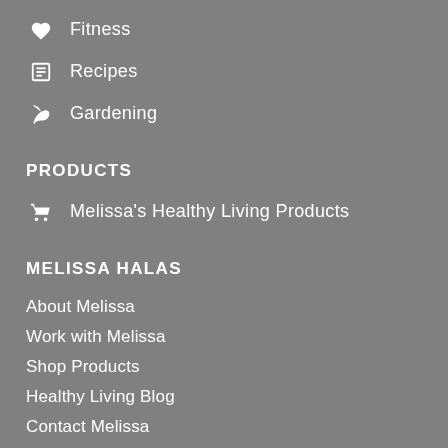Fitness
Recipes
Gardening
PRODUCTS
Melissa's Healthy Living Products
MELISSA HALAS
About Melissa
Work with Melissa
Shop Products
Healthy Living Blog
Contact Melissa